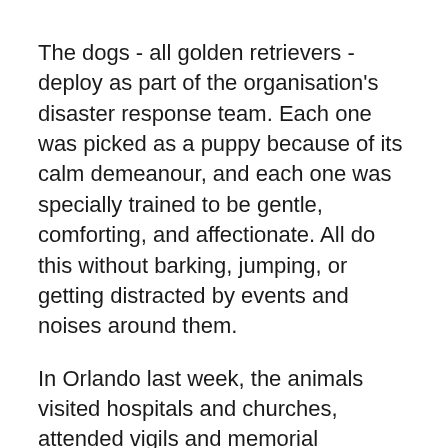The dogs - all golden retrievers - deploy as part of the organisation's disaster response team. Each one was picked as a puppy because of its calm demeanour, and each one was specially trained to be gentle, comforting, and affectionate. All do this without barking, jumping, or getting distracted by events and noises around them.
In Orlando last week, the animals visited hospitals and churches, attended vigils and memorial services, and met with the staff of Pulse (the nightclub where the shooting occurred), reports The New York Times.
These same dogs were in Boston after the